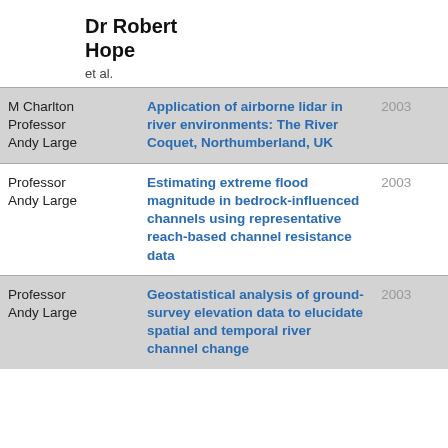Dr Robert Hope
et al.
| Authors | Title | Year |
| --- | --- | --- |
| M Charlton
Professor Andy Large | Application of airborne lidar in river environments: The River Coquet, Northumberland, UK | 2003 |
| Professor Andy Large | Estimating extreme flood magnitude in bedrock-influenced channels using representative reach-based channel resistance data | 2003 |
| Professor Andy Large | Geostatistical analysis of ground-survey elevation data to elucidate spatial and temporal river channel change | 2003 |